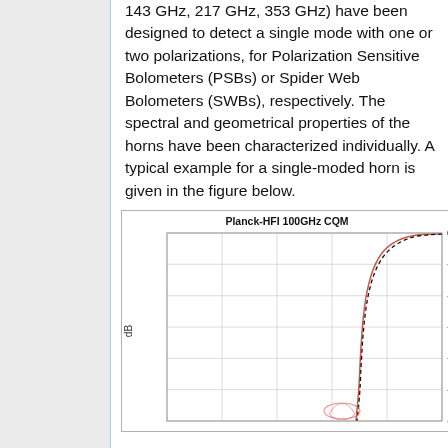143 GHz, 217 GHz, 353 GHz) have been designed to detect a single mode with one or two polarizations, for Polarization Sensitive Bolometers (PSBs) or Spider Web Bolometers (SWBs), respectively. The spectral and geometrical properties of the horns have been characterized individually. A typical example for a single-moded horn is given in the figure below.
[Figure (continuous-plot): Beam pattern plot (dB vs angle) for Planck-HFI 100GHz CQM horn, showing a main lobe curving from 0 dB down to about -30 dB, with a small side lobe visible at the bottom. Y-axis shows values from 0 to -30 dB. A vertical black dashed line and a red/pink solid curve are both shown.]